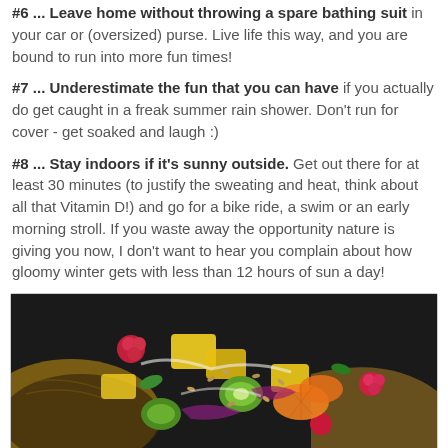#6 ... Leave home without throwing a spare bathing suit in your car or (oversized) purse. Live life this way, and you are bound to run into more fun times!
#7 ... Underestimate the fun that you can have if you actually do get caught in a freak summer rain shower. Don't run for cover - get soaked and laugh :)
#8 ... Stay indoors if it's sunny outside. Get out there for at least 30 minutes (to justify the sweating and heat, think about all that Vitamin D!) and go for a bike ride, a swim or an early morning stroll. If you waste away the opportunity nature is giving you now, I don't want to hear you complain about how gloomy winter gets with less than 12 hours of sun a day!
[Figure (photo): Close-up photo of a colorful fruit salad in a wooden bowl, featuring raspberries, pineapple chunks, kiwi, orange segments, and seeds.]